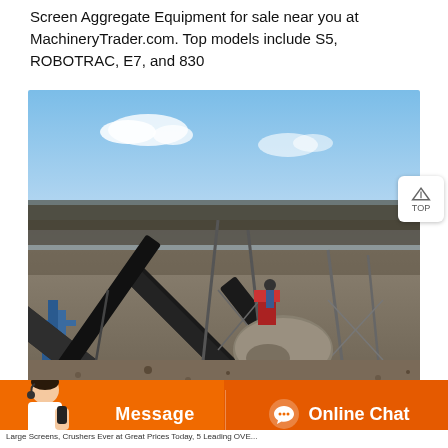Screen Aggregate Equipment for sale near you at MachineryTrader.com. Top models include S5, ROBOTRAC, E7, and 830
[Figure (photo): Outdoor industrial aggregate screening and conveyor equipment installation with multiple inclined conveyor belts over gravel ground, trees and blue sky in background]
Message   Online Chat
Large Screens, Crushers Ever at Great Prices Today, 5 Leading OVE...